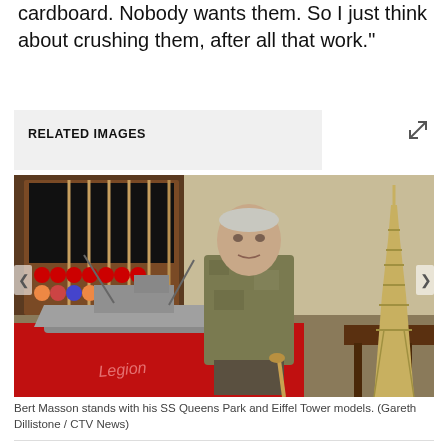cardboard. Nobody wants them. So I just think about crushing them, after all that work."
RELATED IMAGES
[Figure (photo): Bert Masson stands with his SS Queens Park model ship on a red Legion tablecloth and an Eiffel Tower model made of matchsticks/toothpicks, in front of a billiard cue rack with colorful balls.]
Bert Masson stands with his SS Queens Park and Eiffel Tower models. (Gareth Dillistone / CTV News)
Report an error
Editorial standards & policies